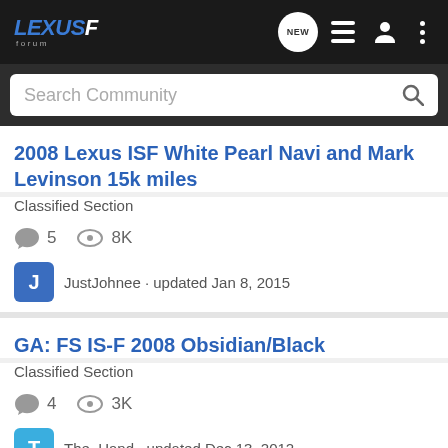Lexus F Forum
Search Community
2008 Lexus ISF White Pearl Navi and Mark Levinson 15k miles
Classified Section
5 comments · 8K views · JustJohnee · updated Jan 8, 2015
GA: FS IS-F 2008 Obsidian/Black
Classified Section
4 comments · 3K views · The_Hand · updated Dec 13, 2012